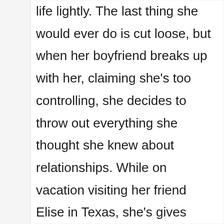…Sandra definitely refuses to take life lightly. The last thing she would ever do is cut loose, but when her boyfriend breaks up with her, claiming she's too controlling, she decides to throw out everything she thought she knew about relationships. While on vacation visiting her friend Elise in Texas, she's gives herself one main rule: The first man who trips your trigger, go for it! No questions, no reservations. The